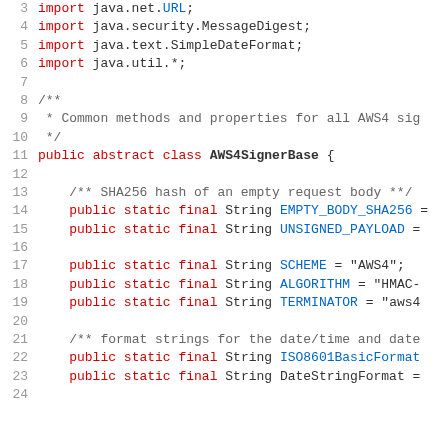Java code snippet showing AWS4SignerBase class with import statements and static final field declarations
3    import java.net.URL;
4    import java.security.MessageDigest;
5    import java.text.SimpleDateFormat;
6    import java.util.*;
7
8    /**
9     * Common methods and properties for all AWS4 sig
10     */
11    public abstract class AWS4SignerBase {
12
13        /** SHA256 hash of an empty request body **/
14        public static final String EMPTY_BODY_SHA256 =
15        public static final String UNSIGNED_PAYLOAD =
16
17        public static final String SCHEME = "AWS4";
18        public static final String ALGORITHM = "HMAC-
19        public static final String TERMINATOR = "aws4
20
21        /** format strings for the date/time and date
22        public static final String ISO8601BasicFormat
23        public static final String DateStringFormat =
24